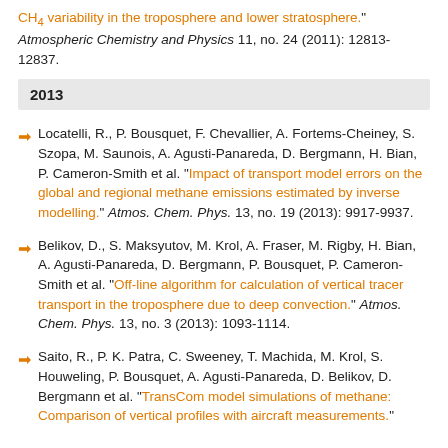CH4 variability in the troposphere and lower stratosphere." Atmospheric Chemistry and Physics 11, no. 24 (2011): 12813-12837.
2013
Locatelli, R., P. Bousquet, F. Chevallier, A. Fortems-Cheiney, S. Szopa, M. Saunois, A. Agusti-Panareda, D. Bergmann, H. Bian, P. Cameron-Smith et al. "Impact of transport model errors on the global and regional methane emissions estimated by inverse modelling." Atmos. Chem. Phys. 13, no. 19 (2013): 9917-9937.
Belikov, D., S. Maksyutov, M. Krol, A. Fraser, M. Rigby, H. Bian, A. Agusti-Panareda, D. Bergmann, P. Bousquet, P. Cameron-Smith et al. "Off-line algorithm for calculation of vertical tracer transport in the troposphere due to deep convection." Atmos. Chem. Phys. 13, no. 3 (2013): 1093-1114.
Saito, R., P. K. Patra, C. Sweeney, T. Machida, M. Krol, S. Houweling, P. Bousquet, A. Agusti-Panareda, D. Belikov, D. Bergmann et al. "TransCom model simulations of methane: Comparison of vertical profiles with aircraft measurements."